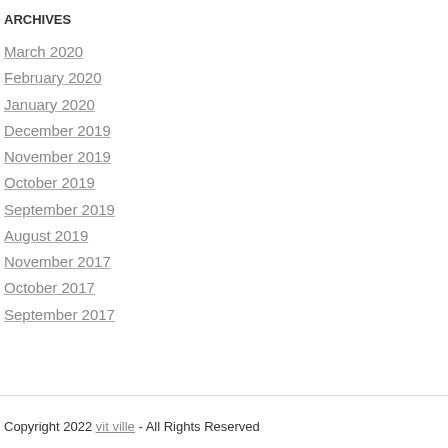ARCHIVES
March 2020
February 2020
January 2020
December 2019
November 2019
October 2019
September 2019
August 2019
November 2017
October 2017
September 2017
Copyright 2022 vit ville - All Rights Reserved